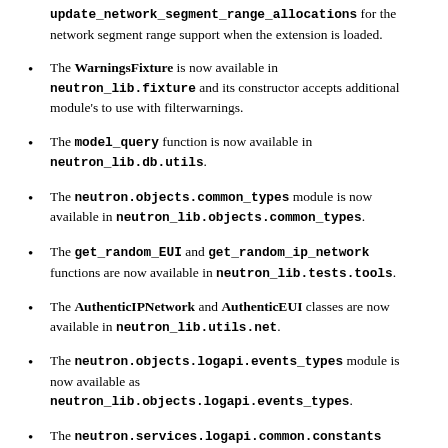update_network_segment_range_allocations for the network segment range support when the extension is loaded.
The WarningsFixture is now available in neutron_lib.fixture and its constructor accepts additional module's to use with filterwarnings.
The model_query function is now available in neutron_lib.db.utils.
The neutron.objects.common_types module is now available in neutron_lib.objects.common_types.
The get_random_EUI and get_random_ip_network functions are now available in neutron_lib.tests.tools.
The AuthenticIPNetwork and AuthenticEUI classes are now available in neutron_lib.utils.net.
The neutron.objects.logapi.events_types module is now available as neutron_lib.objects.logapi.events_types.
The neutron.services.logapi.common.constants